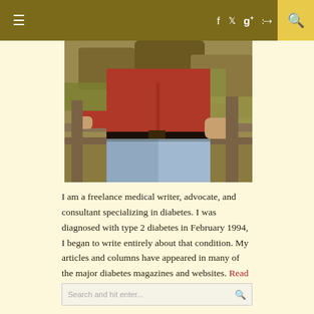≡  f  twitter  g+  rss  🔍
[Figure (photo): Person in a red shirt and jeans leaning on a wooden fence railing outdoors, with rocky and mossy background.]
I am a freelance medical writer, advocate, and consultant specializing in diabetes. I was diagnosed with type 2 diabetes in February 1994, I began to write entirely about that condition. My articles and columns have appeared in many of the major diabetes magazines and websites. Read more